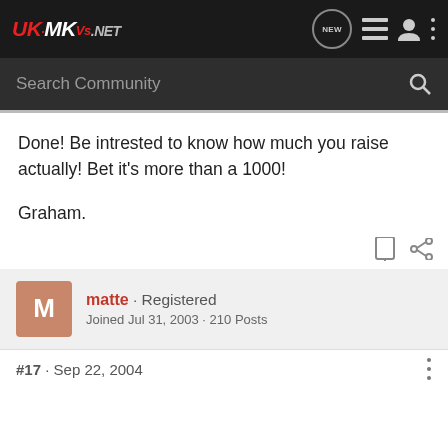UK-MKVS.NET
Done! Be intrested to know how much you raise actually! Bet it's more than a 1000!

Graham.
matte · Registered
Joined Jul 31, 2003 · 210 Posts
#17 · Sep 22, 2004